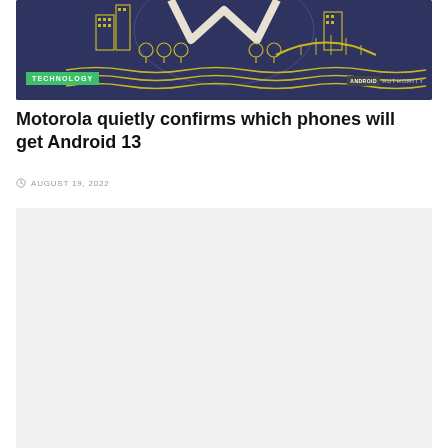[Figure (illustration): Android Authority branded hero image with dark navy/purple background featuring yellow line-art cityscape with buildings, bridge, and water waves]
Motorola quietly confirms which phones will get Android 13
AUGUST 19, 2022
[Figure (other): Light gray content placeholder block]